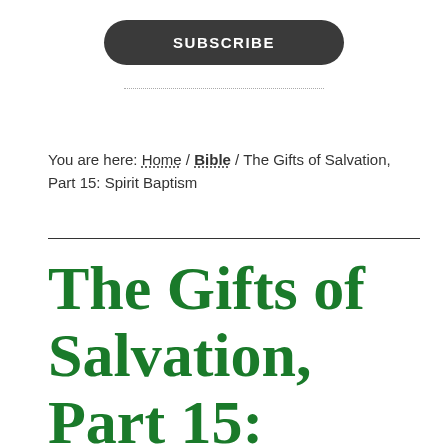[Figure (other): Dark rounded rectangle subscribe button with white uppercase text 'SUBSCRIBE']
You are here: Home / Bible / The Gifts of Salvation, Part 15: Spirit Baptism
The Gifts of Salvation, Part 15: Spirit Baptism